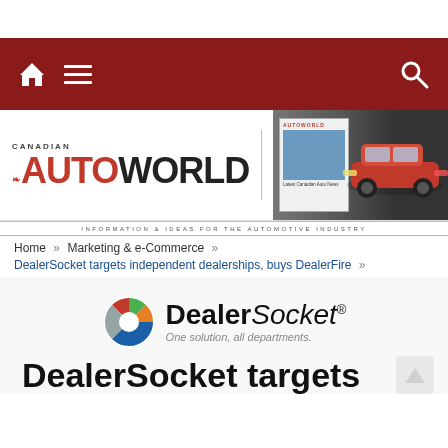[Figure (screenshot): Canadian AutoWorld website header with dark red navigation bar containing home, menu, and search icons]
[Figure (logo): Canadian AutoWorld logo with red maple leaf, AUTO in red bold, WORLD in dark bold, vertical divider, 30th anniversary badge in orange, and a red car image on the right]
INFORMATION & IDEAS FOR THE AUTOMOTIVE INDUSTRY
Home » Marketing & e-Commerce »
DealerSocket targets independent dealerships, buys DealerFire »
[Figure (logo): DealerSocket logo with circular colorful icon and text 'DealerSocket® One solution, all departments.']
DealerSocket targets